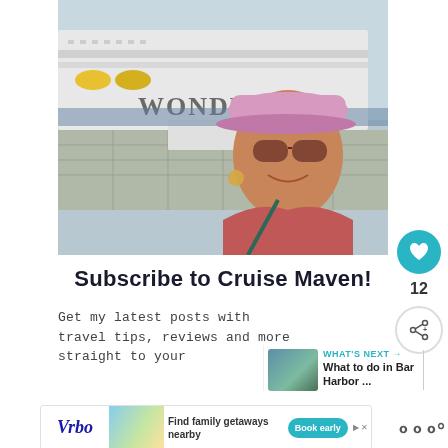[Figure (photo): Woman smiling wearing a pink baseball cap and sunglasses, standing in front of a large cruise ship with the word WONDER visible on the hull, docked at a port with stone pavement.]
Subscribe to Cruise Maven!
Get my latest posts with travel tips, reviews and more straight to your
[Figure (photo): Small thumbnail of a tropical resort with thatched roofs over water, palm trees, next to WHAT'S NEXT label and 'What to do in Bar Harbor ...' text]
WHAT'S NEXT → What to do in Bar Harbor ...
[Figure (screenshot): Advertisement banner for Vrbo showing logo, beach house image, text 'Find family getaways nearby', and a 'Book early' button]